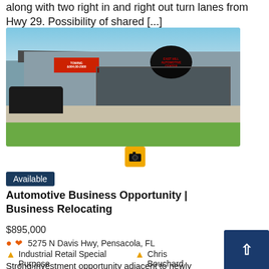along with two right in and right out turn lanes from Hwy 29. Possibility of shared [...]
[Figure (photo): Exterior photo of an automotive business/repair shop with gray metal building, red towing sign, dark oval logo sign on roof, vehicles in parking lot, and green lawn in foreground]
Available
Automotive Business Opportunity | Business Relocating
$895,000
5275 N Davis Hwy, Pensacola, FL
Industrial Retail Special Purpose
Chris Bouchard
Strong investment opportunity adjacent to newly